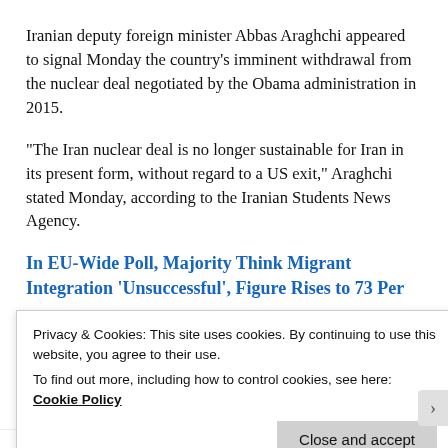Iranian deputy foreign minister Abbas Araghchi appeared to signal Monday the country's imminent withdrawal from the nuclear deal negotiated by the Obama administration in 2015.
“The Iran nuclear deal is no longer sustainable for Iran in its present form, without regard to a US exit,” Araghchi stated Monday, according to the Iranian Students News Agency.
In EU-Wide Poll, Majority Think Migrant Integration ‘Unsuccessful’, Figure Rises to 73 Per
Privacy & Cookies: This site uses cookies. By continuing to use this website, you agree to their use.
To find out more, including how to control cookies, see here: Cookie Policy